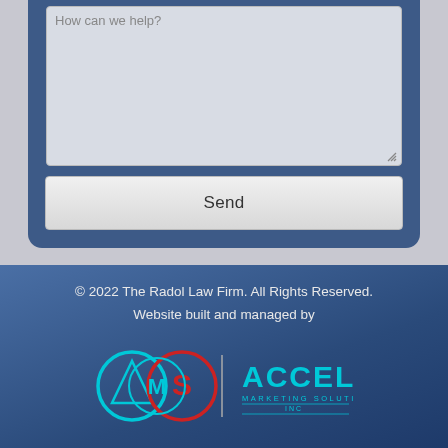[Figure (screenshot): Contact form partial view showing a textarea input (empty, with resize handle) and a 'Send' button below it, set within a dark blue rounded card on a grey background.]
© 2022 The Radol Law Firm. All Rights Reserved.
Website built and managed by
[Figure (logo): AMS Accel Marketing Solutions Inc. logo — circular AMS mark with cyan and red circles on left, vertical divider, ACCEL MARKETING SOLUTIONS INC text on right in cyan.]
Disclaimer | Sitemap | Privacy Policy